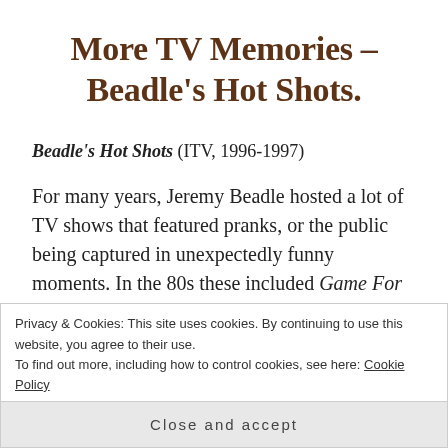More TV Memories – Beadle's Hot Shots.
Beadle's Hot Shots (ITV, 1996-1997)
For many years, Jeremy Beadle hosted a lot of TV shows that featured pranks, or the public being captured in unexpectedly funny moments. In the 80s these included Game For A Laugh and People Do The Funniest Things, and in the 90s included
Privacy & Cookies: This site uses cookies. By continuing to use this website, you agree to their use.
To find out more, including how to control cookies, see here: Cookie Policy
Close and accept